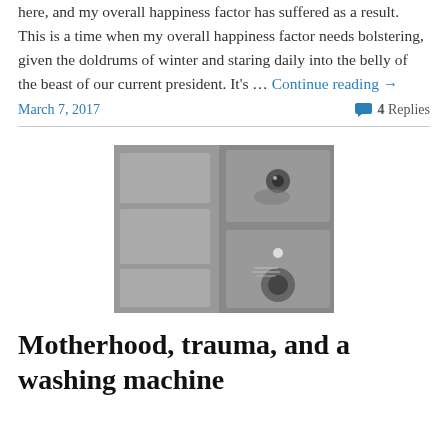here, and my overall happiness factor has suffered as a result. This is a time when my overall happiness factor needs bolstering, given the doldrums of winter and staring daily into the belly of the beast of our current president. It's … Continue reading →
March 7, 2017
4 Replies
[Figure (photo): Black and white close-up photo of a washing machine control panel with a key lock and dial controls]
Motherhood, trauma, and a washing machine